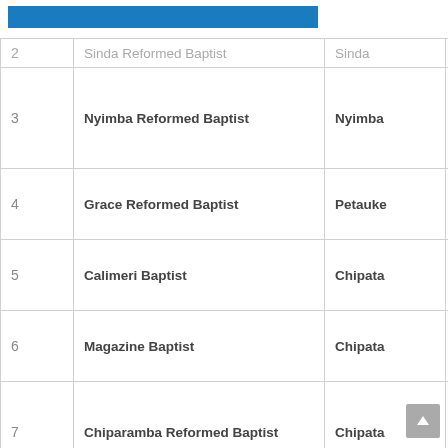| # | Name | Location | Count |
| --- | --- | --- | --- |
| 2 | Sinda Reformed Baptist | Sinda | 13 |
| 3 | Nyimba Reformed Baptist | Nyimba | 12 |
| 4 | Grace Reformed Baptist | Petauke | 13 |
| 5 | Calimeri Baptist | Chipata | 2 |
| 6 | Magazine Baptist | Chipata | 9 |
| 7 | Chiparamba Reformed Baptist | Chipata | 11 |
| 8 | Chipata Calvary Baptist | Chipata | 28 |
| 9 | Chiyanjano Baptist | Lusaka | 1 |